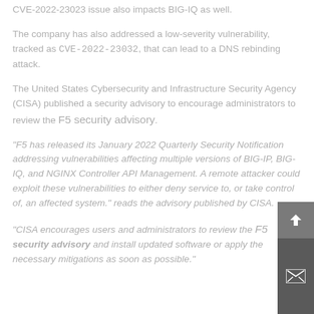CVE-2022-23023 issue also impacts BIG-IQ as well.
The company has also addressed a low-severity vulnerability, tracked as CVE-2022-23032, that can lead to a DNS rebinding attack.
The United States Cybersecurity and Infrastructure Security Agency (CISA) published a security advisory to encourage administrators to review the F5 security advisory.
"F5 has released its January 2022 Quarterly Security Notification addressing vulnerabilities affecting multiple versions of BIG-IP, BIG-IQ, and NGINX Controller API Management. A remote attacker could exploit these vulnerabilities to either deny service to, or take control of, an affected system." reads the advisory published by CISA.
"CISA encourages users and administrators to review the F5 security advisory and install updated software or apply the necessary mitigations as soon as possible."